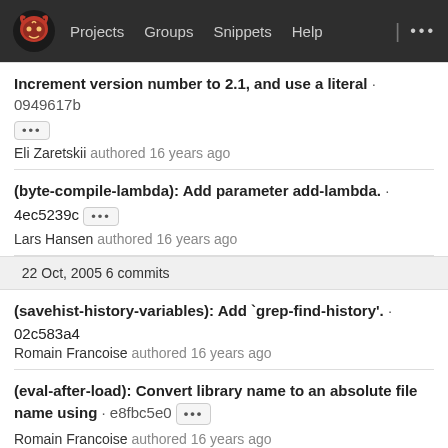Projects  Groups  Snippets  Help  ...
Increment version number to 2.1, and use a literal · 0949617b
[...]
Eli Zaretskii authored 16 years ago
(byte-compile-lambda): Add parameter add-lambda. · 4ec5239c [...]
Lars Hansen authored 16 years ago
22 Oct, 2005 6 commits
(savehist-history-variables): Add `grep-find-history'. · 02c583a4
Romain Francoise authored 16 years ago
(eval-after-load): Convert library name to an absolute file name using · e8fbc5e0 [...]
Romain Francoise authored 16 years ago
(Building Emacs): Fix last change. · 6d1e17be